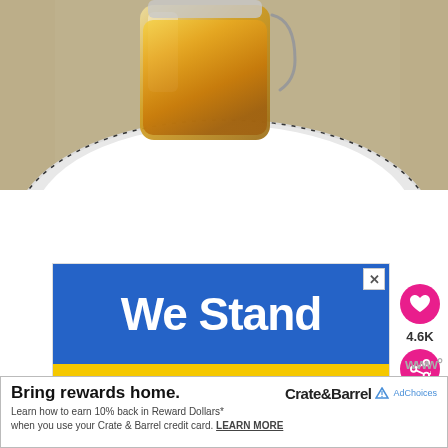[Figure (photo): Close-up photo of a glass jar with amber/golden honey or oil on a white plate with black striped rim, on a linen background]
[Figure (infographic): Advertisement banner with blue top section reading 'We Stand' in white bold text and yellow bottom section reading 'With You' in black bold text. An X close button is in the top right corner.]
4.6K
[Figure (infographic): Bottom banner ad: 'Bring rewards home.' with Crate&Barrel logo and AdX marker. Subtext: 'Learn how to earn 10% back in Reward Dollars* when you use your Crate & Barrel credit card. LEARN MORE']